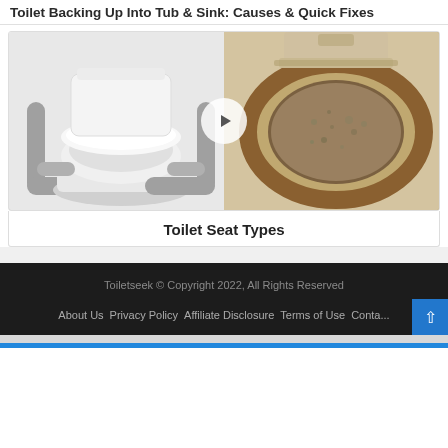Toilet Backing Up Into Tub & Sink: Causes & Quick Fixes
[Figure (photo): Two-panel video thumbnail: left side shows a white raised toilet seat with grey grab handles; right side shows an open toilet bowl with a wooden seat revealing sawdust or debris inside. A circular play button overlay is centered between the two images.]
Toilet Seat Types
Toiletseek © Copyright 2022, All Rights Reserved
About Us   Privacy Policy   Affiliate Disclosure   Terms of Use   Contact